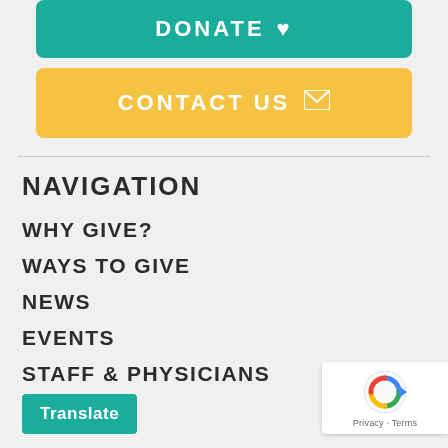[Figure (other): Teal DONATE button with heart icon]
[Figure (other): Yellow CONTACT US button with mail icon]
NAVIGATION
WHY GIVE?
WAYS TO GIVE
NEWS
EVENTS
STAFF & PHYSICIANS
[Figure (other): Translate button (teal) and reCAPTCHA badge]